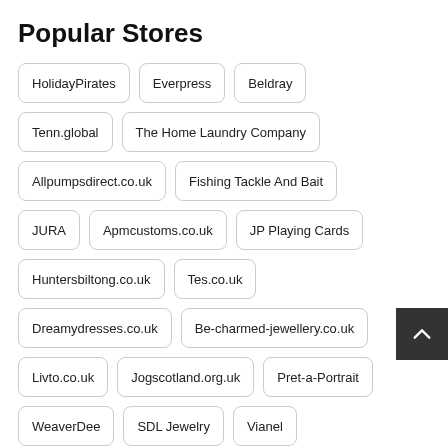Popular Stores
HolidayPirates
Everpress
Beldray
Tenn.global
The Home Laundry Company
Allpumpsdirect.co.uk
Fishing Tackle And Bait
JURA
Apmcustoms.co.uk
JP Playing Cards
Huntersbiltong.co.uk
Tes.co.uk
Dreamydresses.co.uk
Be-charmed-jewellery.co.uk
Livto.co.uk
Jogscotland.org.uk
Pret-a-Portrait
WeaverDee
SDL Jewelry
Vianel